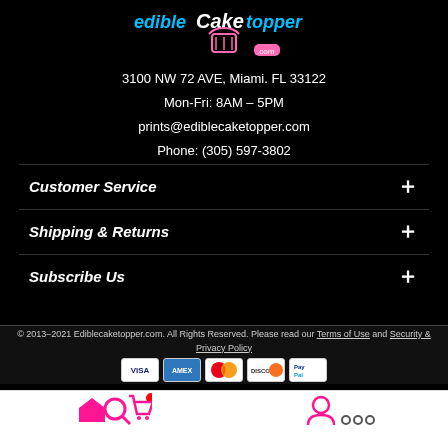[Figure (logo): Edible Cake Topper .com logo with cupcake icon in teal/pink on black background]
3100 NW 72 AVE, Miami. FL 33122
Mon-Fri: 8AM - 5PM
prints@ediblecaketopper.com
Phone: (305) 597-3802
Customer Service
Shipping & Returns
Subscribe Us
© 2013-2021 Ediblecaketopper.com. All Rights Reserved. Please read our Terms of Use and Security & Privacy Policy
[Figure (other): Payment method icons: VISA, AMEX, MasterCard, Discover, PayPal]
[Figure (other): Bottom navigation bar with home, search, cart, account, more icons]